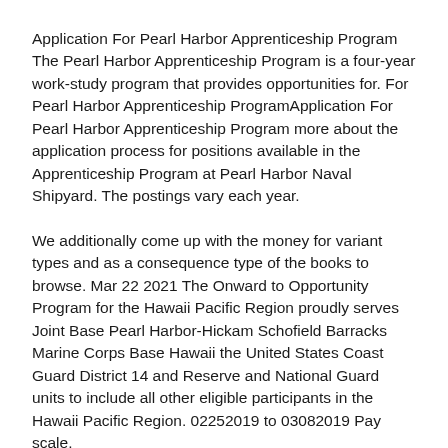Application For Pearl Harbor Apprenticeship Program The Pearl Harbor Apprenticeship Program is a four-year work-study program that provides opportunities for. For Pearl Harbor Apprenticeship ProgramApplication For Pearl Harbor Apprenticeship Program more about the application process for positions available in the Apprenticeship Program at Pearl Harbor Naval Shipyard. The postings vary each year.
We additionally come up with the money for variant types and as a consequence type of the books to browse. Mar 22 2021 The Onward to Opportunity Program for the Hawaii Pacific Region proudly serves Joint Base Pearl Harbor-Hickam Schofield Barracks Marine Corps Base Hawaii the United States Coast Guard District 14 and Reserve and National Guard units to include all other eligible participants in the Hawaii Pacific Region. 02252019 to 03082019 Pay scale.